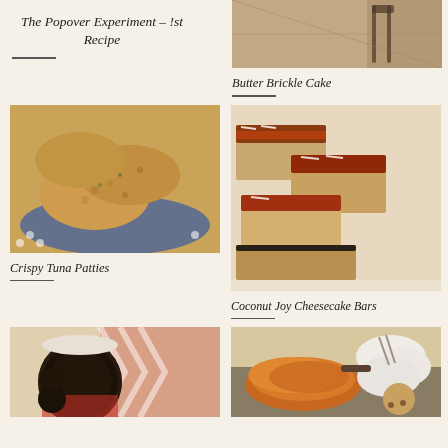The Popover Experiment – 1st Recipe
[Figure (photo): Photo of Butter Brickle Cake]
Butter Brickle Cake
[Figure (photo): Photo of Crispy Tuna Patties on a blue plate]
Crispy Tuna Patties
[Figure (photo): Photo of Coconut Joy Cheesecake Bars on a white plate]
Coconut Joy Cheesecake Bars
[Figure (photo): Photo of Oreo chocolate cupcakes]
[Figure (photo): Photo of orange chicken dish and cookie]